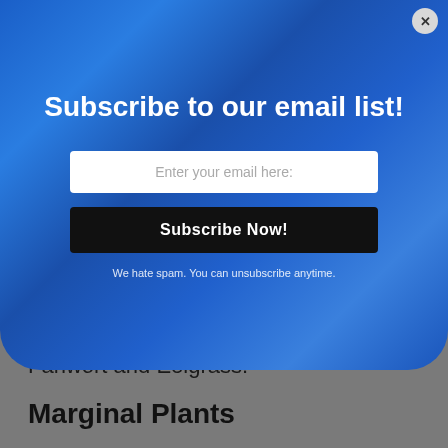Subscribe to our email list!
Enter your email here:
Subscribe Now!
We hate spam. You can unsubscribe anytime.
examples of submerged plants are Fanwort and Eelgrass.
Marginal Plants
Marginal plants thrive in shallow water which are around the margins of ponds. Not only adding color and beauty to your pond, they extract harmful nutrients from your pond water before these nutrients accumulate and cause a much bigger and serious problem. Some examples are Cattails and Irises